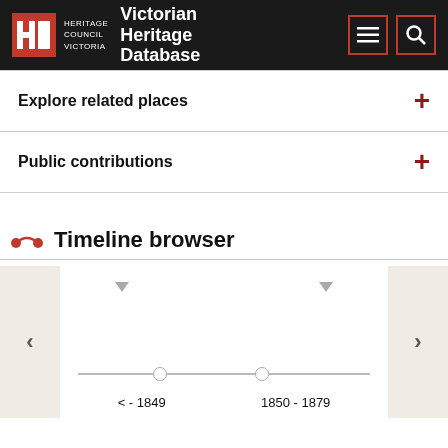Heritage Council Victoria | Victorian Heritage Database
Explore related places
Public contributions
Timeline browser
[Figure (other): Timeline browser widget showing a horizontal timeline with two markers at '< - 1849' and '1850 - 1879', with left and right navigation arrows, downward pointer arrows above the markers, and beige side panels.]